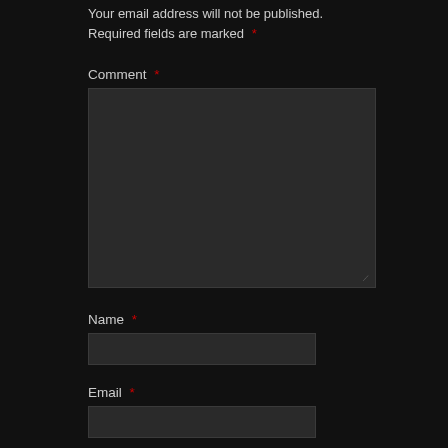Your email address will not be published. Required fields are marked *
Comment *
[Figure (other): Comment text area input box, large dark rectangle]
Name *
[Figure (other): Name input field, dark rectangle]
Email *
[Figure (other): Email input field, dark rectangle]
Website
[Figure (other): Website input field, dark rectangle]